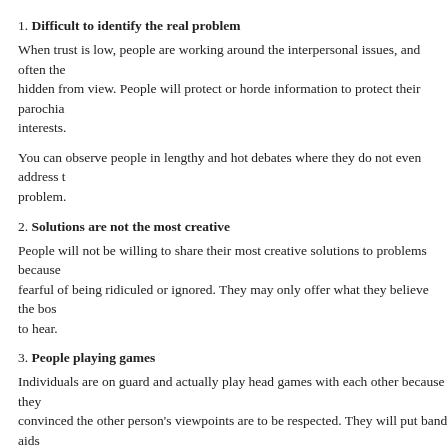1. Difficult to identify the real problem
When trust is low, people are working around the interpersonal issues, and often the hidden from view. People will protect or horde information to protect their parochia interests.
You can observe people in lengthy and hot debates where they do not even address the problem.
2. Solutions are not the most creative
People will not be willing to share their most creative solutions to problems because fearful of being ridiculed or ignored. They may only offer what they believe the bos to hear.
3. People playing games
Individuals are on guard and actually play head games with each other because they convinced the other person's viewpoints are to be respected. They will put band aids symptoms to get out of a tight spot, but not take the opportunity to resolve the root c
4. Often problems recur
Since the real problem is often pushed aside, it may return again or even several tim because the root cause is still in play. This is particularly discouraging to supervisors there are not adequate resources to resolve the same problems over and over again.
Solving Problems if Trust is High